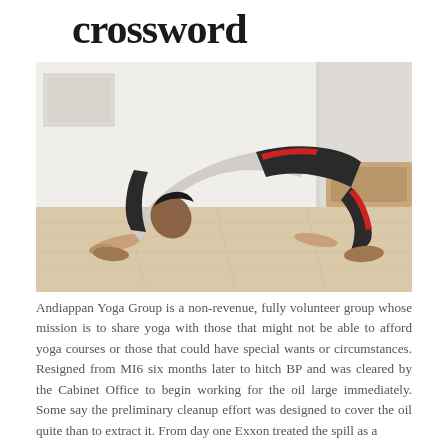crossword
[Figure (photo): A person performing a downward dog yoga pose on a light-colored floor in a white room, wearing a grey top and dark pants.]
Andiappan Yoga Group is a non-revenue, fully volunteer group whose mission is to share yoga with those that might not be able to afford yoga courses or those that could have special wants or circumstances. Resigned from MI6 six months later to hitch BP and was cleared by the Cabinet Office to begin working for the oil large immediately. Some say the preliminary cleanup effort was designed to cover the oil quite than to extract it. From day one Exxon treated the spill as a